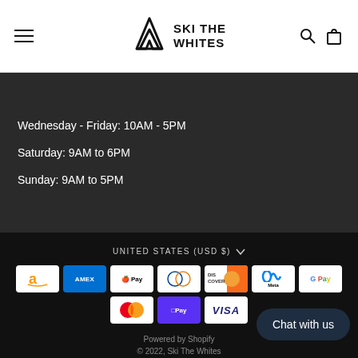SKI THE WHITES
Wednesday - Friday: 10AM - 5PM
Saturday: 9AM to 6PM
Sunday: 9AM to 5PM
UNITED STATES (USD $)
[Figure (logo): Payment method icons: Amazon, American Express, Apple Pay, Diners Club, Discover, Meta Pay, Google Pay, Mastercard, Shopify Pay, Visa]
Powered by Shopify · © 2022, Ski The Whites